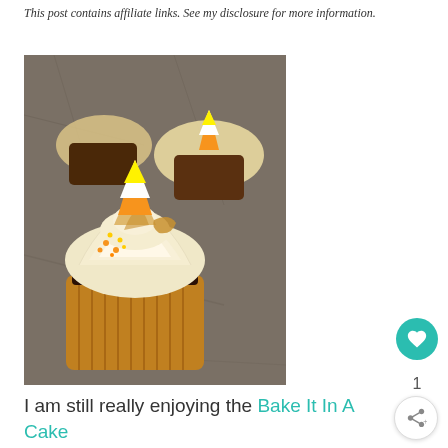This post contains affiliate links. See my disclosure for more information.
[Figure (photo): Close-up photo of chocolate cupcakes with swirled cream frosting, candy corn decorations, orange and yellow sprinkles, in gold foil wrappers on a granite countertop.]
I am still really enjoying the Bake It In A Cake